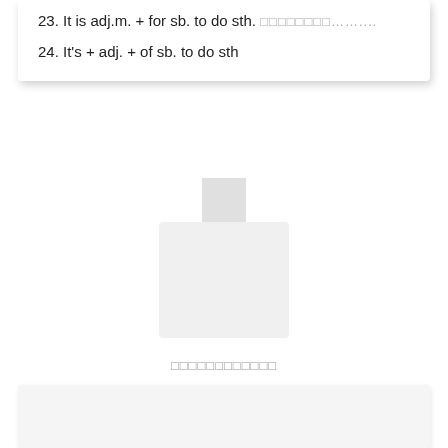23. It is adj.m. + for sb. to do sth. ................
24. It's + adj. + of sb. to do sth
[Figure (illustration): User avatar placeholder: small square head above a larger rectangular body, both in light gray, centered on the page]
□□□□□□□□□□□□
[Figure (other): Light gray rounded rectangle content card at the bottom of the page]